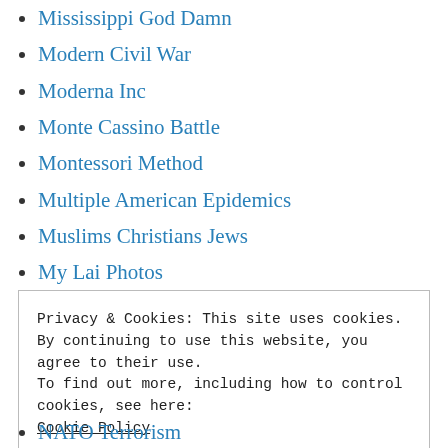Mississippi God Damn
Modern Civil War
Moderna Inc
Monte Cassino Battle
Montessori Method
Multiple American Epidemics
Muslims Christians Jews
My Lai Photos
National Endowment Democracy
National Security State
NATO Budget Complaints
Privacy & Cookies: This site uses cookies. By continuing to use this website, you agree to their use.
To find out more, including how to control cookies, see here:
Cookie Policy
Close and accept
NATO Terrorism